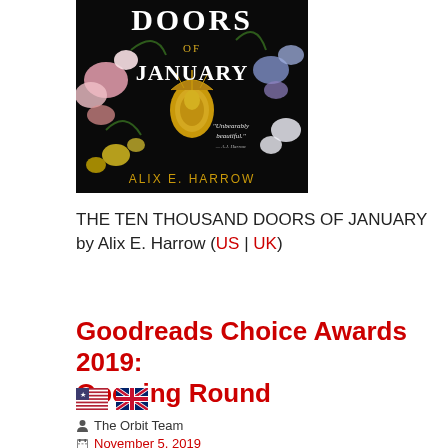[Figure (photo): Book cover of 'The Ten Thousand Doors of January' by Alix E. Harrow, dark background with floral design and golden door knocker, text 'Unbearably beautiful.' as a quote]
THE TEN THOUSAND DOORS OF JANUARY by Alix E. Harrow (US | UK)
Goodreads Choice Awards 2019: Opening Round
🇺🇸 🇬🇧
The Orbit Team
November 5, 2019